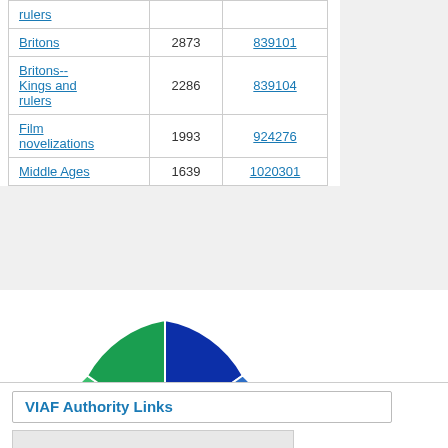| Subject |  |  |
| --- | --- | --- |
| rulers |  |  |
| Britons | 2873 | 839101 |
| Britons--Kings and rulers | 2286 | 839104 |
| Film novelizations | 1993 | 924276 |
| Middle Ages | 1639 | 1020301 |
[Figure (pie-chart): Subject distribution]
VIAF Authority Links